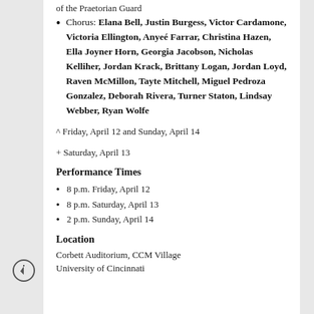of the Praetorian Guard
Chorus: Elana Bell, Justin Burgess, Victor Cardamone, Victoria Ellington, Anyeé Farrar, Christina Hazen, Ella Joyner Horn, Georgia Jacobson, Nicholas Kelliher, Jordan Krack, Brittany Logan, Jordan Loyd, Raven McMillon, Tayte Mitchell, Miguel Pedroza Gonzalez, Deborah Rivera, Turner Staton, Lindsay Webber, Ryan Wolfe
^ Friday, April 12 and Sunday, April 14
+ Saturday, April 13
Performance Times
8 p.m. Friday, April 12
8 p.m. Saturday, April 13
2 p.m. Sunday, April 14
Location
Corbett Auditorium, CCM Village
University of Cincinnati